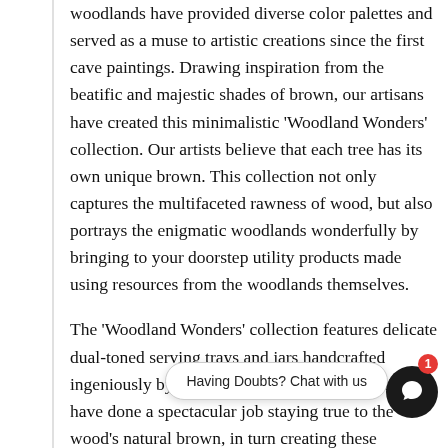woodlands have provided diverse color palettes and served as a muse to artistic creations since the first cave paintings. Drawing inspiration from the beatific and majestic shades of brown, our artisans have created this minimalistic 'Woodland Wonders' collection. Our artists believe that each tree has its own unique brown. This collection not only captures the multifaceted rawness of wood, but also portrays the enigmatic woodlands wonderfully by bringing to your doorstep utility products made using resources from the woodlands themselves.
The 'Woodland Wonders' collection features delicate dual-toned serving trays and jars handcrafted ingeniously by Indian Indian artisans. The artisans have done a spectacular job staying true to the wood's natural brown, in turn creating these wonderful minimalistic and chic pieces that can perfectly complement any aesthetic while simultaneously adding minimalistic, ea
Click Here to visit other products of this collection.